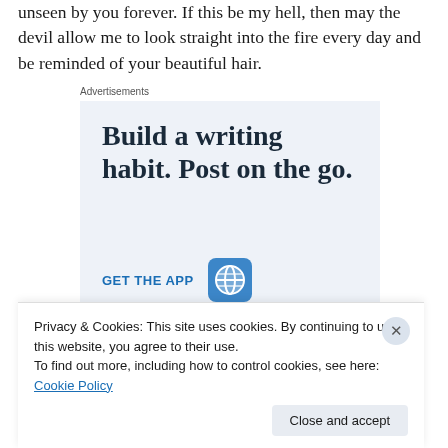unseen by you forever. If this be my hell, then may the devil allow me to look straight into the fire every day and be reminded of your beautiful hair.
Advertisements
[Figure (infographic): WordPress advertisement banner with light blue background. Text reads 'Build a writing habit. Post on the go.' with a 'GET THE APP' call-to-action link and WordPress logo icon.]
Privacy & Cookies: This site uses cookies. By continuing to use this website, you agree to their use.
To find out more, including how to control cookies, see here: Cookie Policy